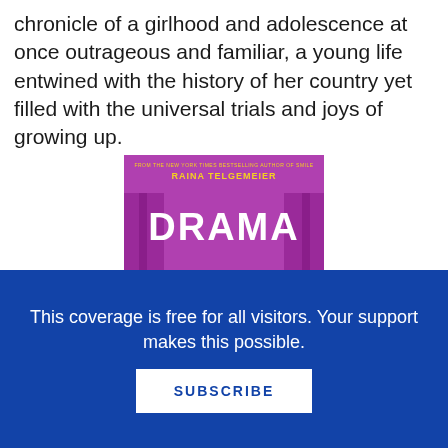chronicle of a girlhood and adolescence at once outrageous and familiar, a young life entwined with the history of her country yet filled with the universal trials and joys of growing up.
[Figure (illustration): Book cover of 'Drama' by Raina Telgemeier. Purple background with large white bold text 'DRAMA'. At top in yellow: 'FROM THE NEW YORK TIMES BESTSELLING AUTHOR OF SMILE' and 'RAINA TELGEMEIER'. Three cartoon characters stand in front of purple curtains: a boy on the left in teal, a girl in the middle with purple hair in yellow, and a boy on the right in green. A pink heart floats above the middle character.]
This coverage is free for all visitors. Your support makes this possible.
SUBSCRIBE